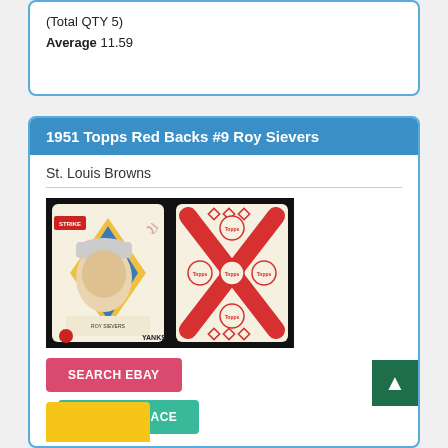(Total QTY 5)
Average 11.59
1951 Topps Red Backs #9 Roy Sievers
St. Louis Browns
[Figure (photo): Front and back of a 1951 Topps Red Backs baseball card #9 Roy Sievers. Front shows player portrait with diamond design. Back shows red card back design with crossed bats and diamond pattern.]
SEARCH EBAY
MARKETPLACE